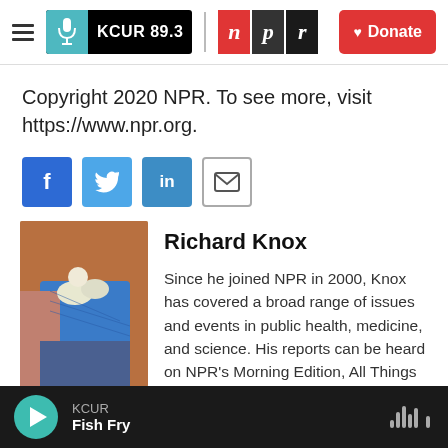KCUR 89.3 | npr | Donate
Copyright 2020 NPR. To see more, visit https://www.npr.org.
[Figure (infographic): Social sharing buttons: Facebook (f), Twitter (bird), LinkedIn (in), Email (envelope)]
[Figure (photo): Photo of a person in a blue Spider-Man shirt with someone in gloved hands nearby]
Richard Knox
Since he joined NPR in 2000, Knox has covered a broad range of issues and events in public health, medicine, and science. His reports can be heard on NPR's Morning Edition, All Things
KCUR / Fish Fry (audio player)